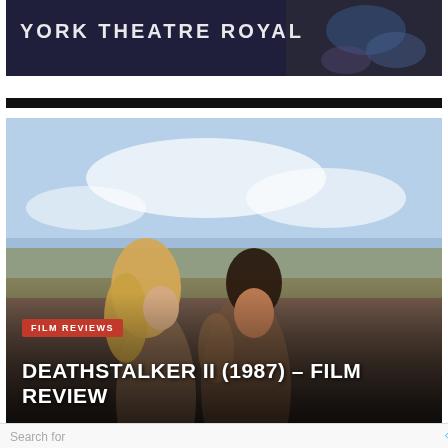[Figure (photo): Top banner image showing York Theatre Royal text on dark decorative background]
[Figure (photo): Movie still from Deathstalker II (1987) showing a blonde woman and dark-haired man in fantasy/action costumes against a sky background]
FILM REVIEWS
DEATHSTALKER II (1987) – FILM REVIEW
Search for
1.  HOME IMPROVEMENT IDEAS
2.  ANTI AGING SKIN CARE